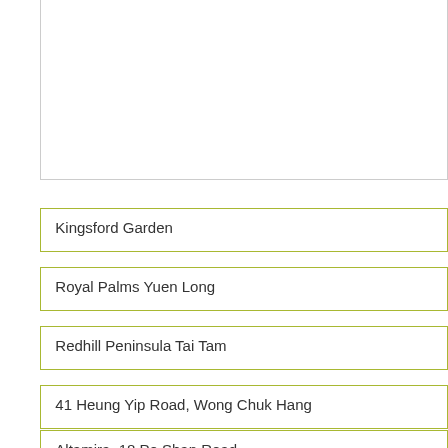[Figure (other): Empty white box with light grey border at top of page]
Kingsford Garden
Royal Palms Yuen Long
Redhill Peninsula Tai Tam
41 Heung Yip Road, Wong Chuk Hang
Altamira, 18 Po Shan Road